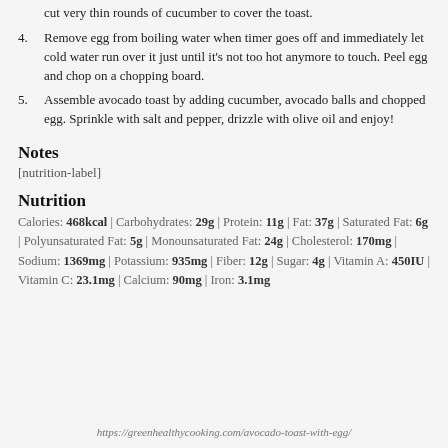3. enough to cover the toast. If you don't have a mandoline just cut very thin rounds of cucumber to cover the toast.
4. Remove egg from boiling water when timer goes off and immediately let cold water run over it just until it's not too hot anymore to touch. Peel egg and chop on a chopping board.
5. Assemble avocado toast by adding cucumber, avocado balls and chopped egg. Sprinkle with salt and pepper, drizzle with olive oil and enjoy!
Notes
[nutrition-label]
Nutrition
Calories: 468kcal | Carbohydrates: 29g | Protein: 11g | Fat: 37g | Saturated Fat: 6g | Polyunsaturated Fat: 5g | Monounsaturated Fat: 24g | Cholesterol: 170mg | Sodium: 1369mg | Potassium: 935mg | Fiber: 12g | Sugar: 4g | Vitamin A: 450IU | Vitamin C: 23.1mg | Calcium: 90mg | Iron: 3.1mg
https://greenhealthycooking.com/avocado-toast-with-egg/